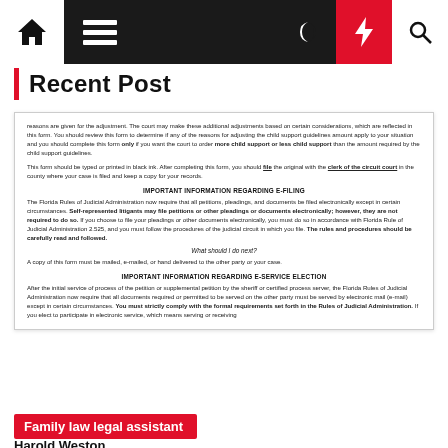Navigation bar with home, menu, moon, lightning, and search icons
Recent Post
reasons are given for the adjustment. The court may make these additional adjustments based on certain considerations, which are reflected in this form. You should review this form to determine if any of the reasons for adjusting the child support guidelines amount apply to your situation and you should complete this form only if you want the court to order more child support or less child support than the amount required by the child support guidelines.
This form should be typed or printed in black ink. After completing this form, you should file the original with the clerk of the circuit court in the county where your case is filed and keep a copy for your records.
IMPORTANT INFORMATION REGARDING E-FILING
The Florida Rules of Judicial Administration now require that all petitions, pleadings, and documents be filed electronically except in certain circumstances. Self-represented litigants may file petitions or other pleadings or documents electronically; however, they are not required to do so. If you choose to file your pleadings or other documents electronically, you must do so in accordance with Florida Rule of Judicial Administration 2.525, and you must follow the procedures of the judicial circuit in which you file. The rules and procedures should be carefully read and followed.
What should I do next?
A copy of this form must be mailed, e-mailed, or hand delivered to the other party or your case.
IMPORTANT INFORMATION REGARDING E-SERVICE ELECTION
After the initial service of process of the petition or supplemental petition by the sheriff or certified process server, the Florida Rules of Judicial Administration now require that all documents required or permitted to be served on the other party must be served by electronic mail (e-mail) except in certain circumstances. You must strictly comply with the formal requirements set forth in the Rules of Judicial Administration. If you elect to participate in electronic service, which means serving or receiving
Family law legal assistant
Harold Weston